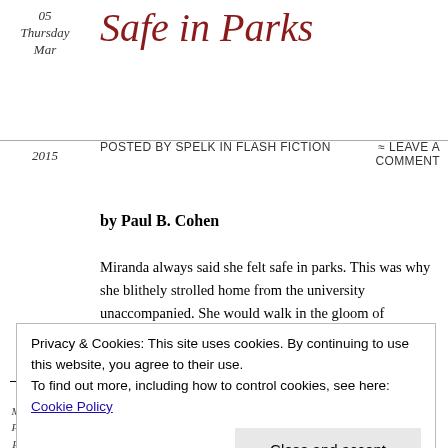05 Thursday Mar
Safe in Parks
Posted by Spelk in Flash Fiction
≈ Leave a comment
2015
by Paul B. Cohen
Tags
flash fiction,
Miranda, park,
Paul B. Cohen,
Peter Sutcliffe,
student,
Miranda always said she felt safe in parks. This was why she blithely strolled home from the university unaccompanied. She would walk in the gloom of evenings, even through the intensity of obsidian winter nights, to the terraced house she shared with Ollie, Angela, Tony and me.
Privacy & Cookies: This site uses cookies. By continuing to use this website, you agree to their use.
To find out more, including how to control cookies, see here: Cookie Policy
Close and accept
claimed at least one student life. In response, the